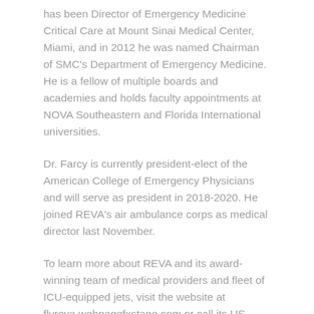has been Director of Emergency Medicine Critical Care at Mount Sinai Medical Center, Miami, and in 2012 he was named Chairman of SMC's Department of Emergency Medicine. He is a fellow of multiple boards and academies and holds faculty appointments at NOVA Southeastern and Florida International universities.
Dr. Farcy is currently president-elect of the American College of Emergency Physicians and will serve as president in 2018-2020. He joined REVA's air ambulance corps as medical director last November.
To learn more about REVA and its award-winning team of medical providers and fleet of ICU-equipped jets, visit the website at flyreva.webpagefxstage.com or call its US Headquarters in Fort Lauderdale at 1-800-752-4195.